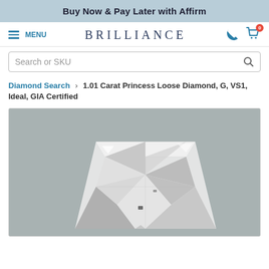Buy Now & Pay Later with Affirm
BRILLIANCE — Menu, Search, Phone, Cart
Search or SKU
Diamond Search › 1.01 Carat Princess Loose Diamond, G, VS1, Ideal, GIA Certified
[Figure (photo): Close-up photo of a princess cut loose diamond on a grey background, showing facets and light reflections.]